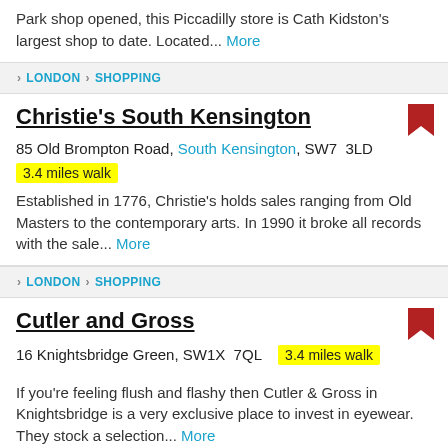Park shop opened, this Piccadilly store is Cath Kidston's largest shop to date. Located... More
LONDON › SHOPPING
Christie's South Kensington
85 Old Brompton Road, South Kensington, SW7 3LD
3.4 miles walk
Established in 1776, Christie's holds sales ranging from Old Masters to the contemporary arts. In 1990 it broke all records with the sale... More
LONDON › SHOPPING
Cutler and Gross
16 Knightsbridge Green, SW1X 7QL   3.4 miles walk
If you're feeling flush and flashy then Cutler & Gross in Knightsbridge is a very exclusive place to invest in eyewear. They stock a selection... More
LONDON › SHOPPING › EYEWEAR